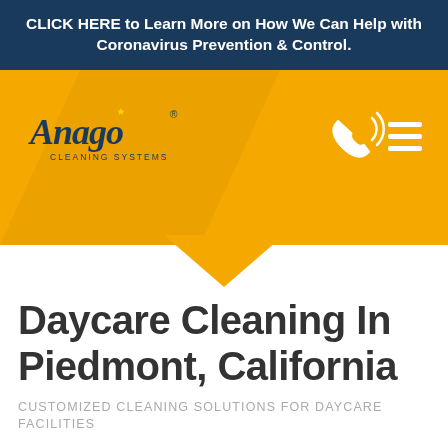CLICK HERE to Learn More on How We Can Help with Coronavirus Prevention & Control.
[Figure (logo): Anago Cleaning Systems logo with phone and menu icons on orange header background with diagonal chevron shape]
Daycare Cleaning In Piedmont, California
CUSTOMIZED CLEANING SOLUTIONS FOR DAYCARE FACILITIES
Maintaining a clean space for a daycare may feel